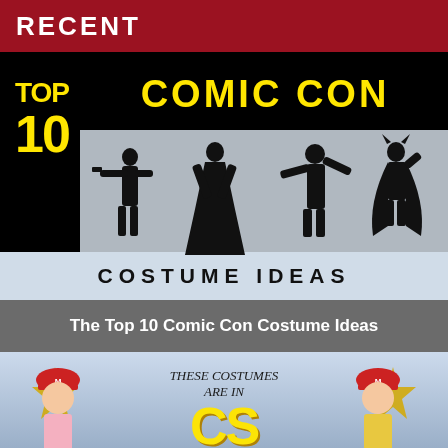RECENT
[Figure (illustration): Top 10 Comic Con Costume Ideas graphic: black background with yellow 'TOP 10' text on left, yellow 'COMIC CON' title at top, grey center panel with black silhouettes of four costumed characters (Star Wars stormtrooper-like figure with gun, elegant woman in long dress, zombie/monster figure, Batman-like caped hero), light blue bottom bar with 'COSTUME IDEAS' in black letters.]
The Top 10 Comic Con Costume Ideas
[Figure (photo): Photo showing two children dressed in Mario-style costumes with red caps, star decorations on the sides, and a center text overlay reading 'THESE COSTUMES ARE IN' with large yellow stylized text below.]